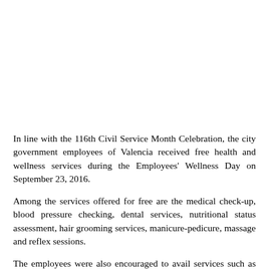In line with the 116th Civil Service Month Celebration, the city government employees of Valencia received free health and wellness services during the Employees' Wellness Day on September 23, 2016.
Among the services offered for free are the medical check-up, blood pressure checking, dental services, nutritional status assessment, hair grooming services, manicure-pedicure, massage and reflex sessions.
The employees were also encouraged to avail services such as the Blood typing and HIV testing at the City Health Office.